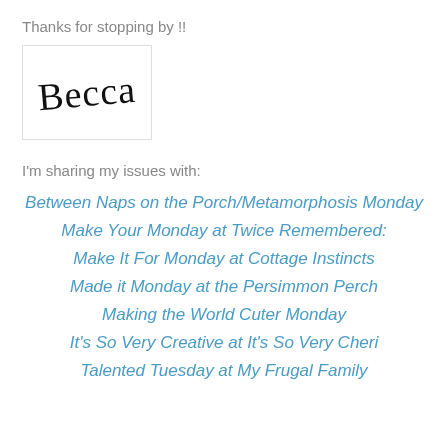Thanks for stopping by !!
[Figure (illustration): Handwritten signature reading 'Becca' in cursive script inside a bordered box]
I'm sharing my issues with:
Between Naps on the Porch/Metamorphosis Monday
Make Your Monday at Twice Remembered:
Make It For Monday at Cottage Instincts
Made it Monday at the Persimmon Perch
Making the World Cuter Monday
It's So Very Creative at It's So Very Cheri
Talented Tuesday at My Frugal Family